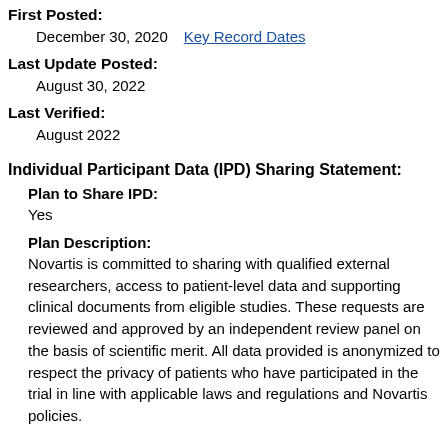First Posted:
December 30, 2020    Key Record Dates
Last Update Posted:
August 30, 2022
Last Verified:
August 2022
Individual Participant Data (IPD) Sharing Statement:
Plan to Share IPD:
Yes
Plan Description:
Novartis is committed to sharing with qualified external researchers, access to patient-level data and supporting clinical documents from eligible studies. These requests are reviewed and approved by an independent review panel on the basis of scientific merit. All data provided is anonymized to respect the privacy of patients who have participated in the trial in line with applicable laws and regulations and Novartis policies.